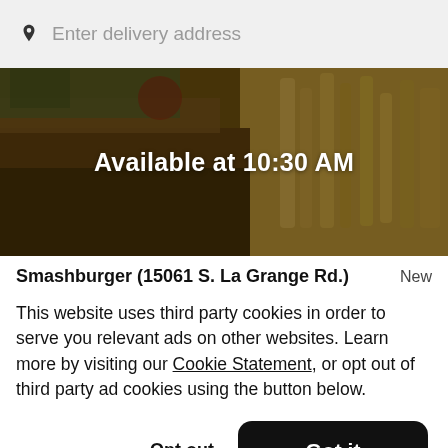Enter delivery address
[Figure (photo): Food photo showing a burger and fries with dark overlay, text overlay reading 'Available at 10:30 AM']
Smashburger (15061 S. La Grange Rd.)
New
This website uses third party cookies in order to serve you relevant ads on other websites. Learn more by visiting our Cookie Statement, or opt out of third party ad cookies using the button below.
Opt out
Got it